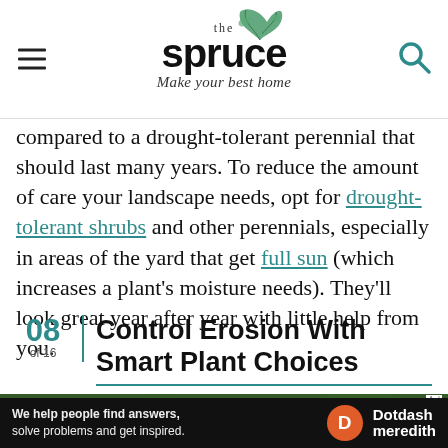the spruce — Make your best home
compared to a drought-tolerant perennial that should last many years. To reduce the amount of care your landscape needs, opt for drought-tolerant shrubs and other perennials, especially in areas of the yard that get full sun (which increases a plant's moisture needs). They'll look great year after year with little help from you.
08 of 16 | Control Erosion With Smart Plant Choices
[Figure (photo): Close-up photo of red berries on a plant with dark green leaves]
[Figure (infographic): Dotdash Meredith advertisement bar: 'We help people find answers, solve problems and get inspired.']